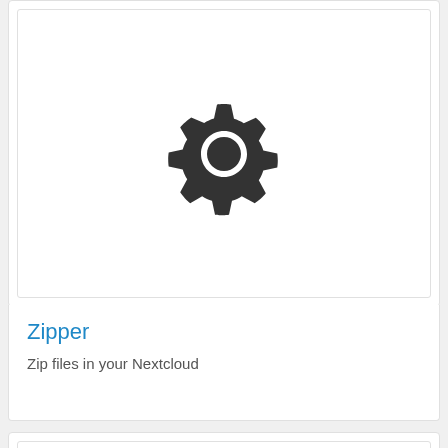[Figure (illustration): A dark grey gear/settings icon centered in a white card area at the top]
Zipper
Zip files in your Nextcloud
[Figure (illustration): A dark grey gear/settings icon centered in a white card area at the bottom, partially cropped]